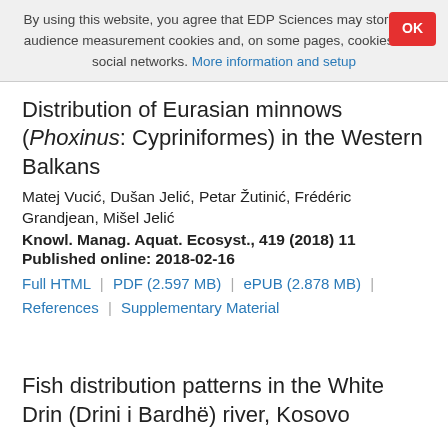By using this website, you agree that EDP Sciences may store web audience measurement cookies and, on some pages, cookies from social networks. More information and setup
Distribution of Eurasian minnows (Phoxinus: Cypriniformes) in the Western Balkans
Matej Vucić, Dušan Jelić, Petar Žutinić, Frédéric Grandjean, Mišel Jelić
Knowl. Manag. Aquat. Ecosyst., 419 (2018) 11
Published online: 2018-02-16
Full HTML | PDF (2.597 MB) | ePUB (2.878 MB) | References | Supplementary Material
Fish distribution patterns in the White Drin (Drini i Bardhë) river, Kosovo